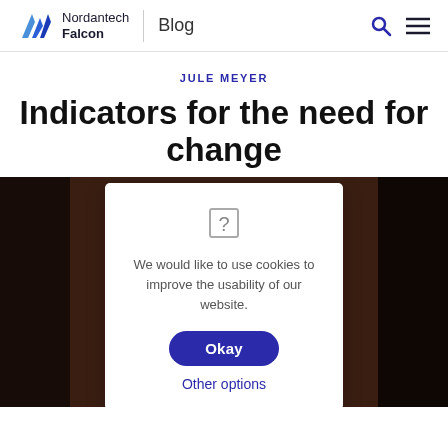Nordantech Falcon | Blog
JULE MEYER
Indicators for the need for change
[Figure (screenshot): Cookie consent dialog overlay on a dark brick wall photo. Dialog contains an image placeholder icon, text 'We would like to use cookies to improve the usability of our website.', an 'Okay' button, and an 'Other options' link. Background shows a dark brick wall with partial white neon text at bottom.]
We would like to use cookies to improve the usability of our website.
Okay
Other options